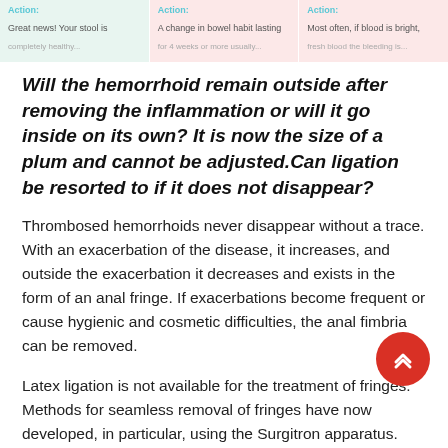[Figure (other): Three action cards at top: green card with 'Action: Great news! Your stool is...' text, pink card with 'Action: A change in bowel habit lasting...' text, pink card with 'Action: Most often, if blood is bright, fresh blood the bleeding is...' text]
Will the hemorrhoid remain outside after removing the inflammation or will it go inside on its own? It is now the size of a plum and cannot be adjusted.Can ligation be resorted to if it does not disappear?
Thrombosed hemorrhoids never disappear without a trace. With an exacerbation of the disease, it increases, and outside the exacerbation it decreases and exists in the form of an anal fringe. If exacerbations become frequent or cause hygienic and cosmetic difficulties, the anal fimbria can be removed.
Latex ligation is not available for the treatment of fringes. Methods for seamless removal of fringes have now developed, in particular, using the Surgitron apparatus. The